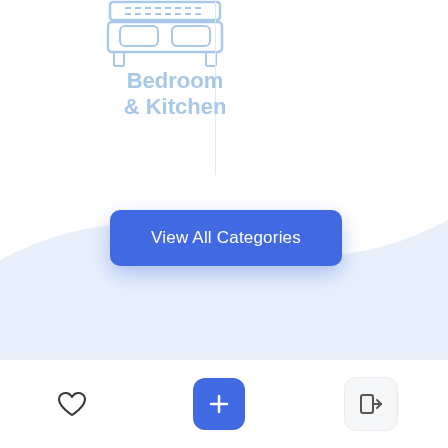[Figure (illustration): Blue outline icon of a bed (bedroom) with horizontal lines representing headboard and mattress]
Bedroom
& Kitchen
[Figure (illustration): Blue button labeled 'View All Categories' with drop shadow]
[Figure (illustration): Wave-shaped light blue background section transitioning from white]
Heart icon (favorites), Plus button, Login arrow button